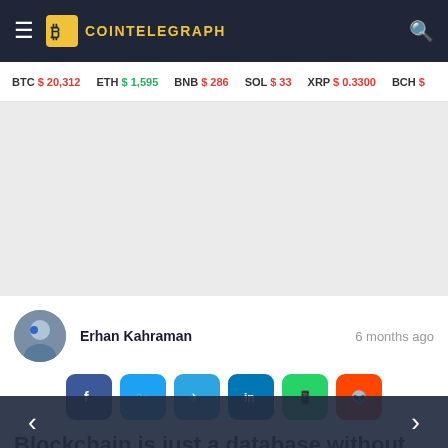COINTELEGRAPH
BTC $ 20,312  ETH $ 1,595  BNB $ 286  SOL $ 33  XRP $ 0.3300  BCH $
[Figure (other): Advertisement / blank image area]
Erhan Kahraman   6 months ago
[Figure (other): Social share buttons: Facebook, Twitter, Telegram, LinkedIn, WhatsApp, Reddit]
Blockchain is just a database without the proper supervision, expert s